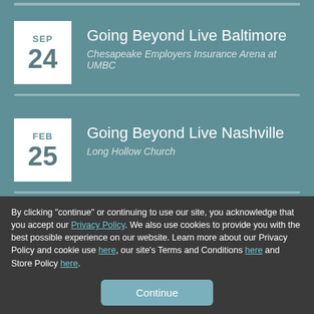SEP 24 — Going Beyond Live Baltimore — Chesapeake Employers Insurance Arena at UMBC
FEB 25 — Going Beyond Live Nashville — Long Hollow Church
By clicking "continue" or continuing to use our site, you acknowledge that you accept our Privacy Policy. We also use cookies to provide you with the best possible experience on our website. Learn more about our Privacy Policy and cookie use here, our site's Terms and Conditions here and Store Policy here.